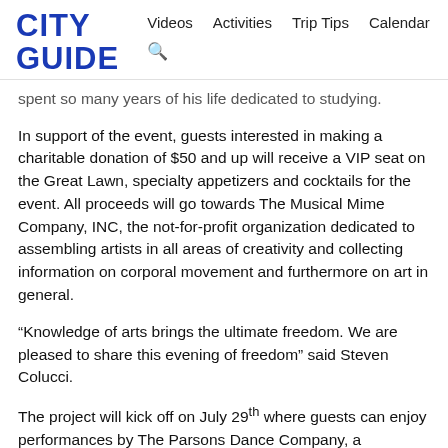CITY GUIDE — Videos | Activities | Trip Tips | Calendar
spent so many years of his life dedicated to studying.
In support of the event, guests interested in making a charitable donation of $50 and up will receive a VIP seat on the Great Lawn, specialty appetizers and cocktails for the event. All proceeds will go towards The Musical Mime Company, INC, the not-for-profit organization dedicated to assembling artists in all areas of creativity and collecting information on corporal movement and furthermore on art in general.
“Knowledge of arts brings the ultimate freedom. We are pleased to share this evening of freedom” said Steven Colucci.
The project will kick off on July 29th where guests can enjoy performances by The Parsons Dance Company, a contemporary American dance company internationally